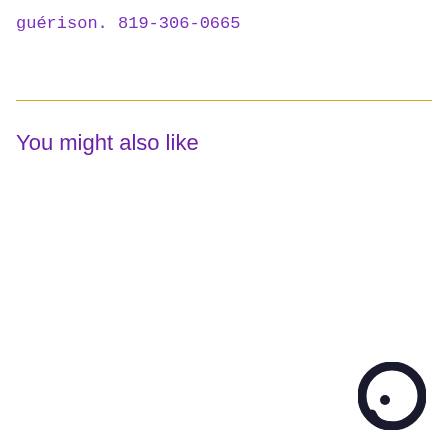guérison. 819-306-0665
You might also like
[Figure (logo): Dark circular chat bubble icon in bottom right corner]